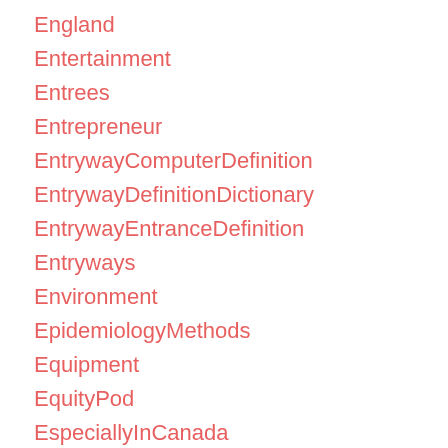England
Entertainment
Entrees
Entrepreneur
EntrywayComputerDefinition
EntrywayDefinitionDictionary
EntrywayEntranceDefinition
Entryways
Environment
EpidemiologyMethods
Equipment
EquityPod
EspeciallyInCanada
essentialoil